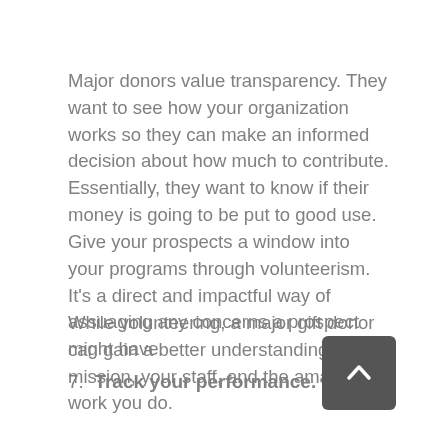Major donors value transparency. They want to see how your organization works so they can make an informed decision about how much to contribute. Essentially, they want to know if their money is going to be put to good use. Give your prospects a window into your programs through volunteerism. It's a direct and impactful way of assuaging any concerns a prospect might have.
While volunteering, a major gift donor can gain a better understanding of your mission, your staff, and the amazing work you do.
7. Track your performance.